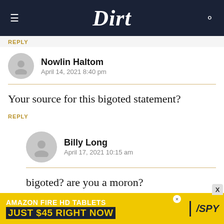Dirt
REPLY
Nowlin Haltom
April 14, 2021 8:40 pm
Your source for this bigoted statement?
REPLY
Billy Long
April 17, 2021 10:15 am
bigoted? are you a moron?
REPLY
[Figure (screenshot): Amazon Fire HD Tablets advertisement banner: 'AMAZON FIRE HD TABLETS JUST $45 RIGHT NOW' with SPY logo]